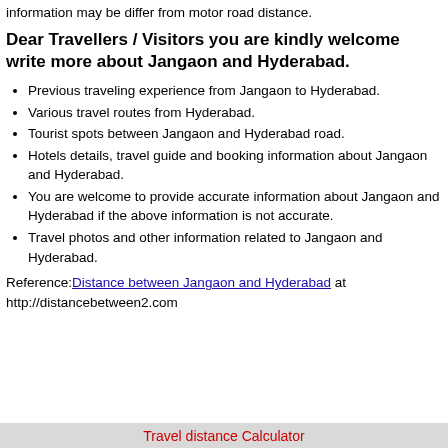information may be differ from motor road distance.
Dear Travellers / Visitors you are kindly welcome write more about Jangaon and Hyderabad.
Previous traveling experience from Jangaon to Hyderabad.
Various travel routes from Hyderabad.
Tourist spots between Jangaon and Hyderabad road.
Hotels details, travel guide and booking information about Jangaon and Hyderabad.
You are welcome to provide accurate information about Jangaon and Hyderabad if the above information is not accurate.
Travel photos and other information related to Jangaon and Hyderabad.
Reference: Distance between Jangaon and Hyderabad at http://distancebetween2.com
Travel distance Calculator